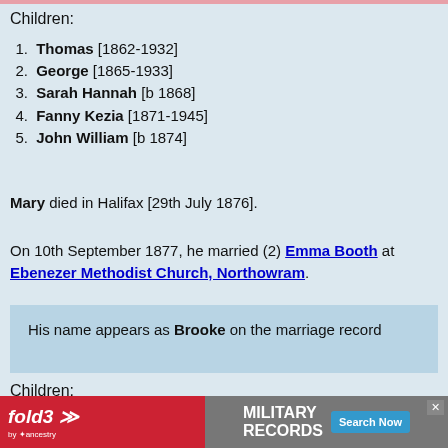Children:
1. Thomas [1862-1932]
2. George [1865-1933]
3. Sarah Hannah [b 1868]
4. Fanny Kezia [1871-1945]
5. John William [b 1874]
Mary died in Halifax [29th July 1876].
On 10th September 1877, he married (2) Emma Booth at Ebenezer Methodist Church, Northowram.
His name appears as Brooke on the marriage record
Children:
6. Herbert A. [b 1879]